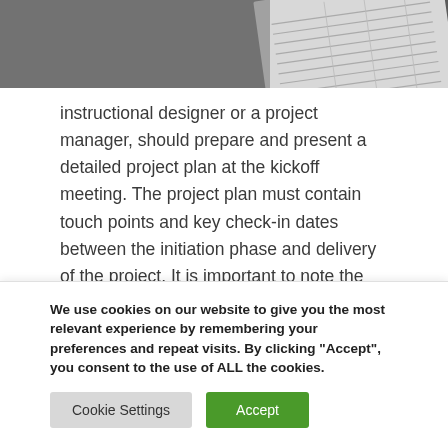[Figure (photo): Grayscale photo of a printed document or form on a desk, viewed at an angle]
instructional designer or a project manager, should prepare and present a detailed project plan at the kickoff meeting. The project plan must contain touch points and key check-in dates between the initiation phase and delivery of the project. It is important to note the dates when the content is due, or when stakeholder’s approval is needed. Always be sure to review all deadlines and ensure that they work for the client. A clause that helps
We use cookies on our website to give you the most relevant experience by remembering your preferences and repeat visits. By clicking “Accept”, you consent to the use of ALL the cookies.